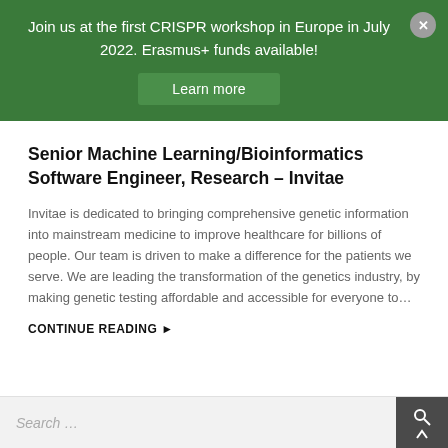Join us at the first CRISPR workshop in Europe in July 2022. Erasmus+ funds available!
Learn more
Senior Machine Learning/Bioinformatics Software Engineer, Research – Invitae
Invitae is dedicated to bringing comprehensive genetic information into mainstream medicine to improve healthcare for billions of people. Our team is driven to make a difference for the patients we serve. We are leading the transformation of the genetics industry, by making genetic testing affordable and accessible for everyone to…
CONTINUE READING ▶
Search …